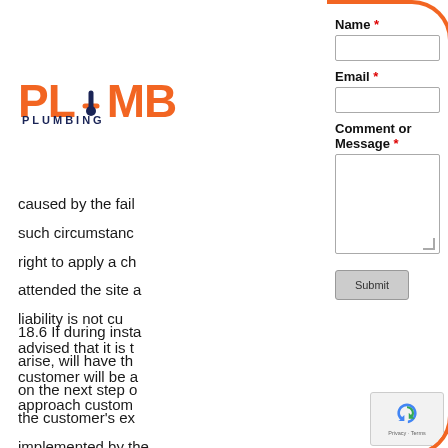[Figure (logo): PLUMBing company logo with orange text 'PLUM' and subtitle 'PLUMBING' in dark blue, with a plumbing pipe icon]
caused by the fail... such circumstances... right to apply a ch... attended the site a... liability is not cu... advised that it is t... customer will be a... approach custom...
18.6 If during insta... arise, will have th... on the next step o... the customer's ex... implemented by the... possible, to enable proceed with work
Name *
Email *
Comment or Message *
Submit